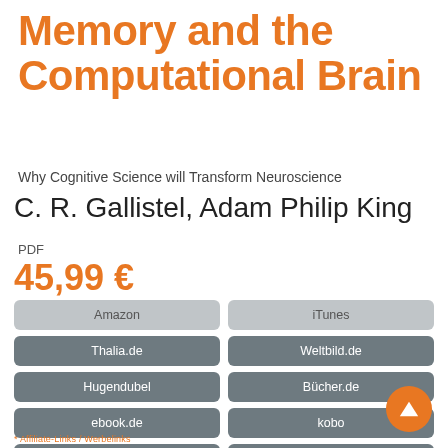Memory and the Computational Brain
Why Cognitive Science will Transform Neuroscience
C. R. Gallistel, Adam Philip King
PDF
45,99 €
Amazon
iTunes
Thalia.de
Weltbild.de
Hugendubel
Bücher.de
ebook.de
kobo
Osiander
Google Books
Barnes&Noble
bol.com
Legimi
yourbook.shop